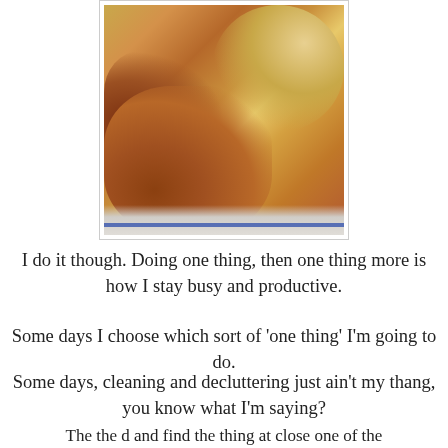[Figure (photo): Close-up photo of a baked bread or casserole dish, golden-brown and slightly dark on top, sitting on a white plate with a blue rim, enclosed in a thin gray border frame.]
I do it though. Doing one thing, then one thing more is how I stay busy and productive.
Some days I choose which sort of 'one thing' I'm going to do.
Some days, cleaning and decluttering just ain't my thang, you know what I'm saying?
The the d and find the thing at close one of the